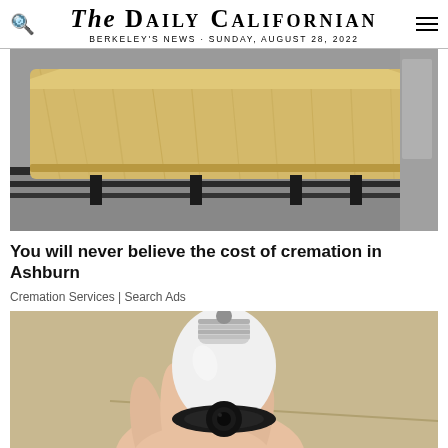THE DAILY CALIFORNIAN — BERKELEY'S NEWS - SUNDAY, AUGUST 28, 2022
[Figure (photo): A wooden coffin on a rail/conveyor system, photographed from the side showing light pine wood grain and black metal rails.]
You will never believe the cost of cremation in Ashburn
Cremation Services | Search Ads
[Figure (photo): A hand holding a white smart camera device shaped like a light bulb with a black rotating base/lens at the bottom.]